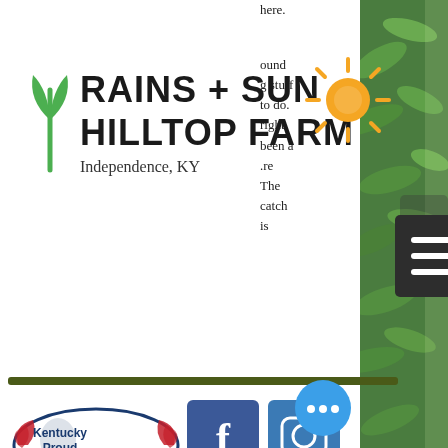[Figure (logo): Rains + Sun Hilltop Farm logo with green seedling icon and orange sun, Independence, KY]
[Figure (other): Hamburger/menu icon button (dark background, three white lines)]
here.
ound
g stuff
to do.
right
been a
re
The
catch
is
[Figure (other): Kentucky Proud logo (oval with wings and text)]
[Figure (logo): Facebook icon (blue square with white f)]
[Figure (logo): Instagram icon (blue square with camera)]
nmer
ner this
re
ry tasty
your
are not
and I
[Figure (logo): USDA Organic logo (circular brown border, green bottom half with white text)]
suspect that they didn't pollinate w... during the really hot days last week... Since we had a bit of a reprieve over the
[Figure (other): Chat/messaging bubble button (blue circle with three dots)]
[Figure (photo): Photo of green plant leaves/seedlings on the right side of the page]